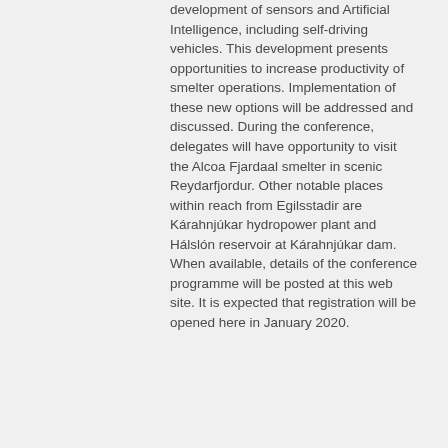development of sensors and Artificial Intelligence, including self-driving vehicles. This development presents opportunities to increase productivity of smelter operations. Implementation of these new options will be addressed and discussed. During the conference, delegates will have opportunity to visit the Alcoa Fjardaal smelter in scenic Reydarfjordur. Other notable places within reach from Egilsstadir are Kárahnjúkar hydropower plant and Hálslón reservoir at Kárahnjúkar dam. When available, details of the conference programme will be posted at this web site. It is expected that registration will be opened here in January 2020.